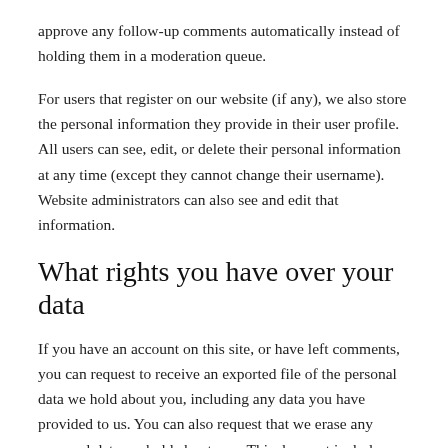approve any follow-up comments automatically instead of holding them in a moderation queue.
For users that register on our website (if any), we also store the personal information they provide in their user profile. All users can see, edit, or delete their personal information at any time (except they cannot change their username). Website administrators can also see and edit that information.
What rights you have over your data
If you have an account on this site, or have left comments, you can request to receive an exported file of the personal data we hold about you, including any data you have provided to us. You can also request that we erase any personal data we hold about you. This does not include any data we are obliged to keep for administrative, legal, or